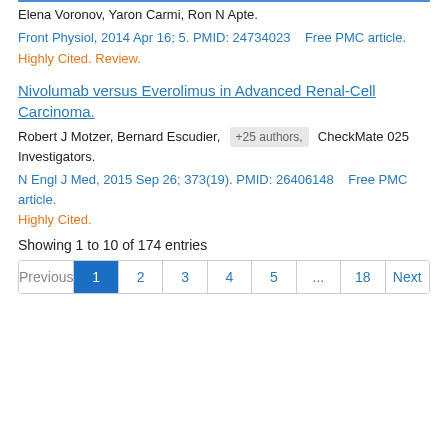Elena Voronov, Yaron Carmi, Ron N Apte.
Front Physiol, 2014 Apr 16; 5. PMID: 24734023   Free PMC article.
Highly Cited. Review.
Nivolumab versus Everolimus in Advanced Renal-Cell Carcinoma.
Robert J Motzer, Bernard Escudier, +25 authors, CheckMate 025 Investigators.
N Engl J Med, 2015 Sep 26; 373(19). PMID: 26406148   Free PMC article.
Highly Cited.
Showing 1 to 10 of 174 entries
Previous | 1 | 2 | 3 | 4 | 5 | ... | 18 | Next